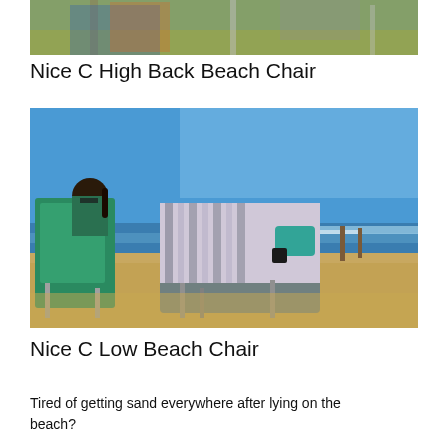[Figure (photo): Partial view of a beach chair or camping chair on grass, cropped at top of page]
Nice C High Back Beach Chair
[Figure (photo): Woman sitting in a teal/green low beach chair on a sandy beach, facing the ocean. Another beach chair with a striped towel/blanket draped over it is beside her. Blue sky and ocean waves in the background.]
Nice C Low Beach Chair
Tired of getting sand everywhere after lying on the beach?